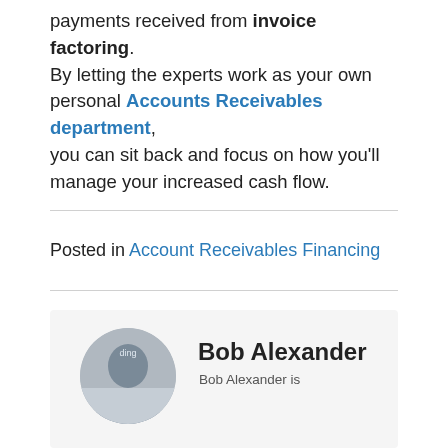payments received from invoice factoring. By letting the experts work as your own personal Accounts Receivables department, you can sit back and focus on how you'll manage your increased cash flow.
Posted in Account Receivables Financing
Bob Alexander